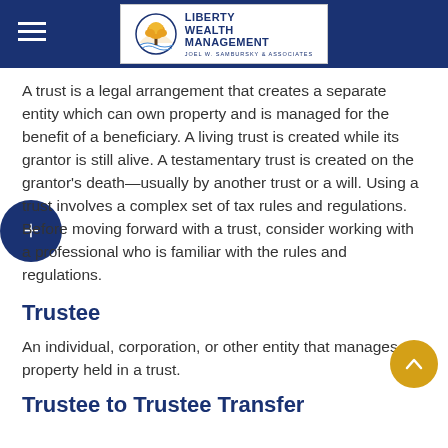Liberty Wealth Management — Joel W. Sambursky & Associates
A trust is a legal arrangement that creates a separate entity which can own property and is managed for the benefit of a beneficiary. A living trust is created while its grantor is still alive. A testamentary trust is created on the grantor's death—usually by another trust or a will. Using a trust involves a complex set of tax rules and regulations. Before moving forward with a trust, consider working with a professional who is familiar with the rules and regulations.
Trustee
An individual, corporation, or other entity that manages property held in a trust.
Trustee to Trustee Transfer